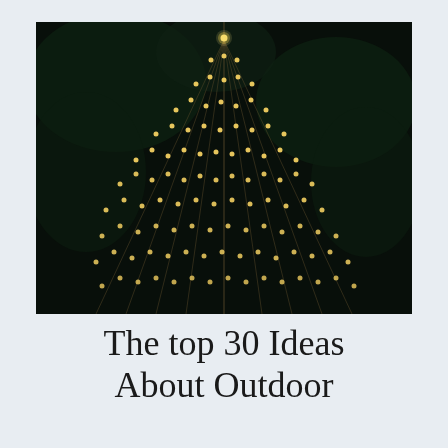[Figure (photo): Night photograph of outdoor string lights arranged in a triangular/tree shape cascading downward from a central point, with dark foliage visible in the background. Warm golden fairy lights create a Christmas-tree-like silhouette against the dark night sky.]
The top 30 Ideas About Outdoor